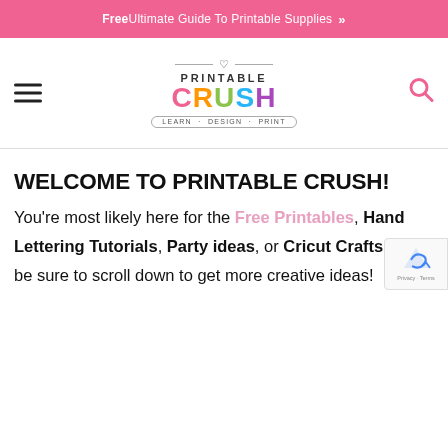Free Ultimate Guide To Printable Supplies >>
[Figure (logo): Printable Crush logo with heart symbol, colorful CRUSH lettering, and LEARN · DESIGN · PRINT tagline]
WELCOME TO PRINTABLE CRUSH!
You're most likely here for the Free Printables, Hand Lettering Tutorials, Party ideas, or Cricut Crafts...but be sure to scroll down to get more creative ideas!